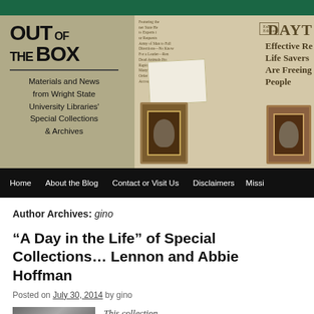[Figure (photo): Out of the Box blog header banner for Wright State University Libraries' Special Collections & Archives, showing logo on left and vintage photographs/newspaper clippings on right]
Home   About the Blog   Contact or Visit Us   Disclaimers   Missi...
Author Archives: gino
“A Day in the Life” of Special Collections... Lennon and Abbie Hoffman
Posted on July 30, 2014 by gino
[Figure (photo): Thumbnail image for blog post and italic preview text beginning with 'This collection...']